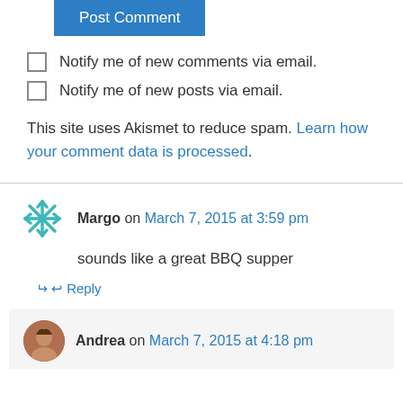Post Comment
Notify me of new comments via email.
Notify me of new posts via email.
This site uses Akismet to reduce spam. Learn how your comment data is processed.
Margo on March 7, 2015 at 3:59 pm
sounds like a great BBQ supper
Reply
Andrea on March 7, 2015 at 4:18 pm